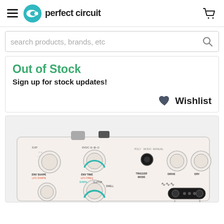Perfect Circuit - Navigation and Cart
search products, brands, etc
Out of Stock
Sign up for stock updates!
Wishlist
[Figure (photo): Photo of a synthesizer/effects pedal unit (white/cream colored) with multiple knobs labeled ENV SHAPE, LFO SHAPE, ENV TIME, LFO FREQ, TRIGGER MODE, DRIVE, DRY, and various controls including POLY/MONO/MANUAL switch and patch/connection points.]